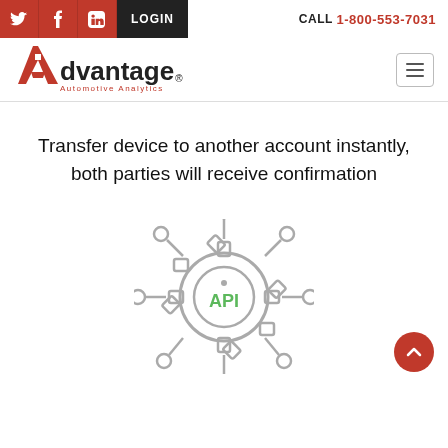Twitter | Facebook | LinkedIn | LOGIN | CALL 1-800-553-7031
[Figure (logo): Advantage Automotive Analytics logo with red stylized A and company name]
Transfer device to another account instantly, both parties will receive confirmation
[Figure (illustration): API gear/cog icon with connection nodes, showing 'API' text in green inside the gear]